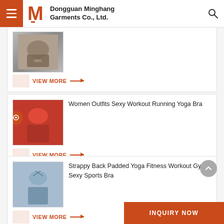Dongguan Minghang Garments Co., Ltd.
[Figure (photo): Product 1: Women sports bra with snake print pattern, partial view (top of card)]
VIEW MORE →
Women Outfits Sexy Workout Running Yoga Bra
[Figure (photo): Product 2: Women red sports bra and pants outfit]
VIEW MORE →
Strappy Back Padded Yoga Fitness Workout Gym Sexy Sports Bra
[Figure (photo): Product 3: Women strappy back yoga bra in light blue]
VIEW MORE →
INQUIRY NOW